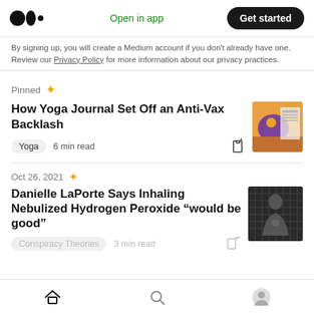Medium logo | Open in app | Get started
By signing up, you will create a Medium account if you don't already have one. Review our Privacy Policy for more information about our privacy practices.
Pinned
How Yoga Journal Set Off an Anti-Vax Backlash
Yoga   6 min read
Oct 26, 2021
Danielle LaPorte Says Inhaling Nebulized Hydrogen Peroxide “would be good”
Conspiracy Theories   3 min read
Home | Search | Profile